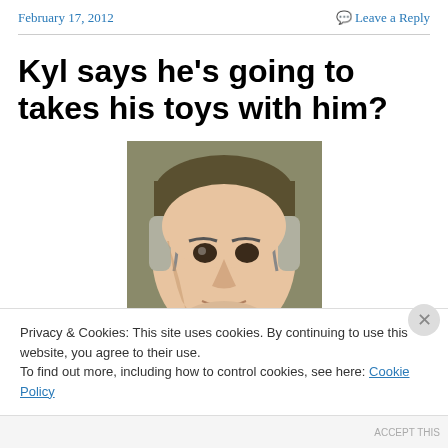February 17, 2012    Leave a Reply
Kyl says he's going to takes his toys with him?
[Figure (illustration): Stylized/cartoon portrait of an older man with gray hair, rendered in a pop-art or posterized illustration style with muted tan, olive, and dark tones.]
Privacy & Cookies: This site uses cookies. By continuing to use this website, you agree to their use.
To find out more, including how to control cookies, see here: Cookie Policy
Close and accept